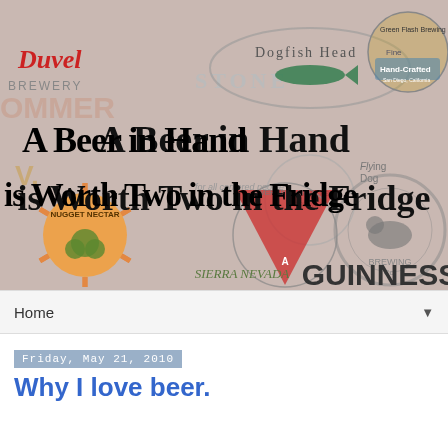[Figure (illustration): A collage of beer brand logos including Duvel, Stone, Dogfish Head, Green Flash Brewing Co., Flying Dog, Nugget Nectar, Avery Brewing, Sierra Nevada, Abita Beer, Guinness, with bold gothic text overlaid reading 'A Beer in Hand is Worth Two in the Fridge']
Home ▼
Friday, May 21, 2010
Why I love beer.